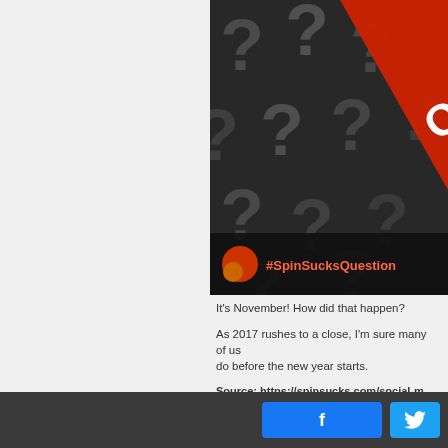[Figure (photo): Dark background filled with 3D grey question marks, with a red diagonal banner in the top right corner showing 'QUES' text, and a dark overlay bar at the bottom showing a red circular icon and '#SpinSucksQuestion' hashtag text in orange]
It's November! How did that happen?
As 2017 rushes to a close, I'm sure many of us do before the new year starts.
Source: https://spinsucks.com/social-m...
The Big Question – Curated input from
[Figure (other): Bottom dark bar with Facebook blue share button and Twitter blue button]